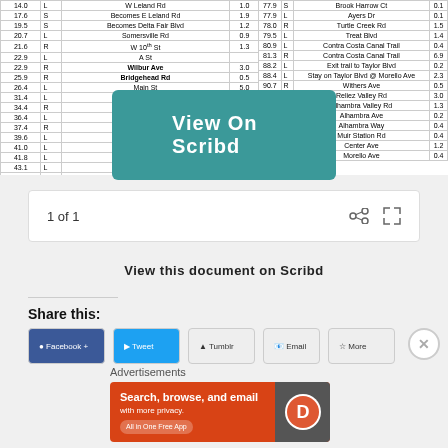| Mile | Dir | Street | Dist |
| --- | --- | --- | --- |
| 14.0 | L | W Leland Rd | 1.0 |
| 17.6 | S | Becomes E Leland Rd | 1.9 |
| 19.5 | S | Becomes Delta Fair Blvd | 1.2 |
| 20.7 | L | Somersville Rd | 0.9 |
| 21.6 | R | W 10th St | 1.3 |
| 22.9 | L | A St |  |
| 22.9 | R | Wilbur Ave | 3.0 |
| 25.9 | R | Bridgehead Rd | 0.5 |
| 26.4 | L | Main St | 5.0 |
| 31.4 | L | Delta Rd | 3.0 |
| 34.4 | R | Byron Hwy | 2.0 |
| 36.4 | L | Orwood Rd | 1.0 |
| 37.4 | R | Bader Rd | 2.2 |
| 39.6 | L | Newport Dr | 1.4 |
| 41.0 | L | Clipper Dr | 0.8 |
| 41.8 | L | Discovery Bay Blvd | 1.3 |
| 43.1 | L | Discovery Point | 0.1 |
| 43.2 | R | Lido Ca... |  |
| 44... | R | ... |  |
| Mile | Dir | Street | Dist |
| --- | --- | --- | --- |
| 77.9 | S | Brook Harrow Ct | 0.1 |
| 77.9 | L | Ayers Dr | 0.1 |
| 78.0 | R | Turtle Creek Rd | 1.5 |
| 79.5 | L | Treat Blvd | 1.4 |
| 80.9 | L | Contra Costa Canal Trail | 0.4 |
| 81.3 | R | Contra Costa Canal Trail | 6.9 |
| 88.2 | L | Exit trail to Taylor Blvd | 0.2 |
| 88.4 | L | Stay on Taylor Blvd @ Morello Ave | 2.3 |
| 90.7 | R | Withers Ave | 0.5 |
| 91.2 | R | Reliez Valley Rd | 3.0 |
| 94.2 | R | Alhambra Valley Rd | 1.3 |
| 95.4 | L | Alhambra Ave | 0.2 |
| 95.7 | R | Alhambra Way | 0.4 |
| 96.1 | R | Muir Station Rd | 0.4 |
| 96.5 | R | Center Ave | 1.2 |
| 97.7 | L | Morello Ave | 0.4 |
View On Scribd
1 of 1
View this document on Scribd
Share this:
Advertisements
[Figure (screenshot): DuckDuckGo advertisement banner with text: Search, browse, and email with more privacy. All in One Free App]